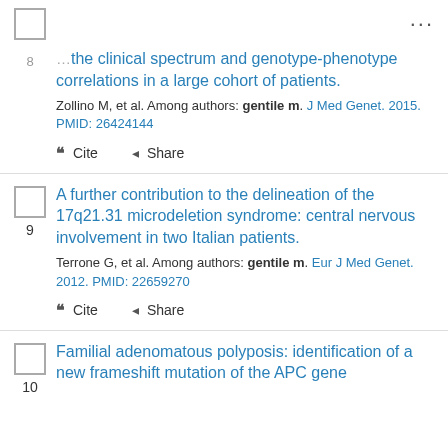the clinical spectrum and genotype-phenotype correlations in a large cohort of patients. Zollino M, et al. Among authors: gentile m. J Med Genet. 2015. PMID: 26424144
9 A further contribution to the delineation of the 17q21.31 microdeletion syndrome: central nervous involvement in two Italian patients. Terrone G, et al. Among authors: gentile m. Eur J Med Genet. 2012. PMID: 22659270
10 Familial adenomatous polyposis: identification of a new frameshift mutation of the APC gene